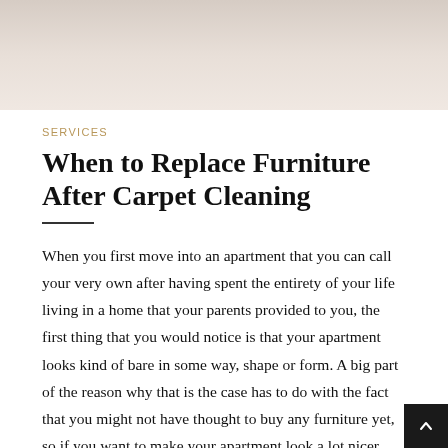[Figure (photo): Top portion of a photo showing a light beige/cream colored background, likely a room interior.]
SERVICES
When to Replace Furniture After Carpet Cleaning
When you first move into an apartment that you can call your very own after having spent the entirety of your life living in a home that your parents provided to you, the first thing that you would notice is that your apartment looks kind of bare in some way, shape or form. A big part of the reason why that is the case has to do with the fact that you might not have thought to buy any furniture yet, so if you want to make your apartment look a lot nicer you need to buy some tables, chairs and sofas at any given point in ti…